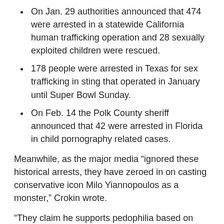On Jan. 29 authorities announced that 474 were arrested in a statewide California human trafficking operation and 28 sexually exploited children were rescued.
178 people were arrested in Texas for sex trafficking in sting that operated in January until Super Bowl Sunday.
On Feb. 14 the Polk County sheriff announced that 42 were arrested in Florida in child pornography related cases.
Meanwhile, as the major media “ignored these historical arrests, they have zeroed in on casting conservative icon Milo Yiannopoulos as a monster,” Crokin wrote.
“They claim he supports pedophilia based on comments he made in a video years ago. The reality is Milo was a victim of child sex abuse, and although he did joke about his abuse in an interview, he in no way